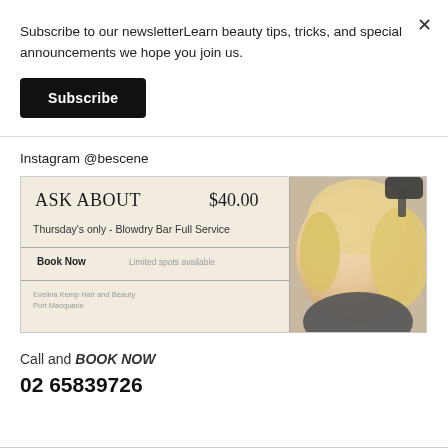Subscribe to our newsletterLearn beauty tips, tricks, and special announcements we hope you join us.
Subscribe
Instagram @bescene
[Figure (illustration): Salon advertisement banner for Evelina Kemp Hair and Beauty, Port Macquarie. Shows ASK ABOUT $40.00 Thursday's only - Blowdry Bar Full Service. Book Now. Limited spots available. Image of woman getting hair styled.]
Call and BOOK NOW
02 65839726